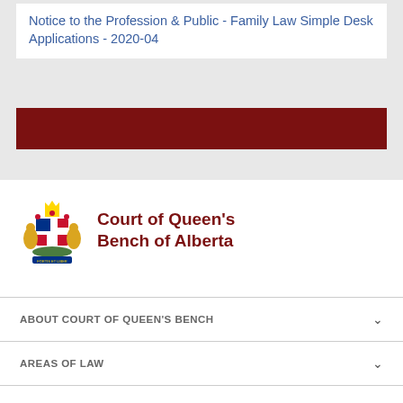Notice to the Profession & Public - Family Law Simple Desk Applications - 2020-04
[Figure (logo): Court of Queen's Bench of Alberta coat of arms logo]
Court of Queen's Bench of Alberta
ABOUT COURT OF QUEEN'S BENCH
AREAS OF LAW
COURT OPERATIONS & SCHEDULES
RESOURCES